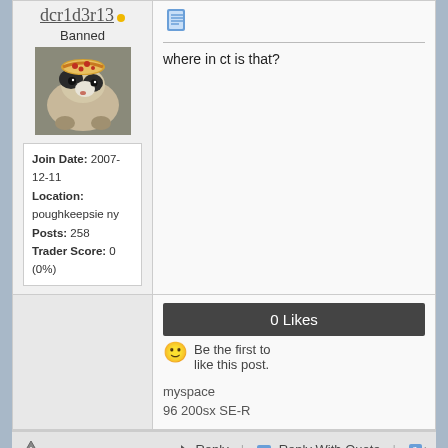dcr1d3r13
Banned
[Figure (photo): Avatar photo of a guinea pig with a small pizza on its head]
Join Date: 2007-12-11
Location: poughkeepsie ny
Posts: 258
Trader Score: 0 (0%)
[Figure (illustration): Document/post icon]
where in ct is that?
0 Likes
Be the first to like this post.
myspace
96 200sx SE-R
Reply | Reply With Quote
2007-12-14 12:10:00
#4
erick212
focused
[Figure (illustration): Document/post icon]
Wallingford, Ct... it's